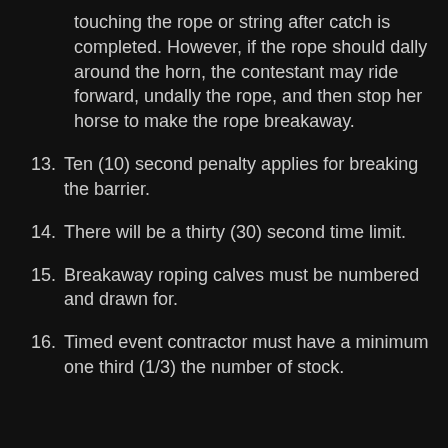touching the rope or string after catch is completed. However, if the rope should dally around the horn, the contestant may ride forward, undally the rope, and then stop her horse to make the rope breakaway.
13. Ten (10) second penalty applies for breaking the barrier.
14. There will be a thirty (30) second time limit.
15. Breakaway roping calves must be numbered and drawn for.
16. Timed event contractor must have a minimum one third (1/3) the number of stock.